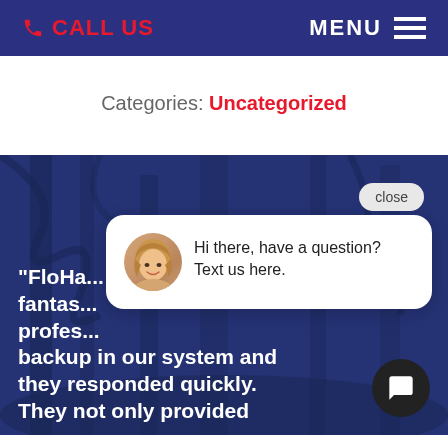📞 CALL US   MENU ≡
Categories: Uncategorized
[Figure (photo): Outdoor forest scene with two people walking/hiking, overlaid with dark blue tint. Contains a chat popup widget with avatar of a woman and text 'Hi there, have a question? Text us here.' with a close button. Bottom portion shows white bold text beginning: '"FloHa... fantas... profes... backup in our system and they responded quickly. They not only provided']
"FloHa... fantas... profes... backup in our system and they responded quickly. They not only provided